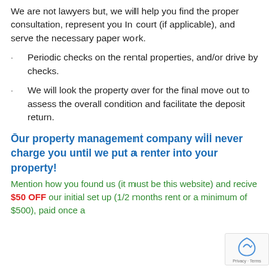We are not lawyers but, we will help you find the proper consultation, represent you In court (if applicable), and serve the necessary paper work.
Periodic checks on the rental properties, and/or drive by checks.
We will look the property over for the final move out to assess the overall condition and facilitate the deposit return.
Our property management company will never charge you until we put a renter into your property!
Mention how you found us (it must be this website) and recive $50 OFF our initial set up (1/2 months rent or a minimum of $500), paid once a